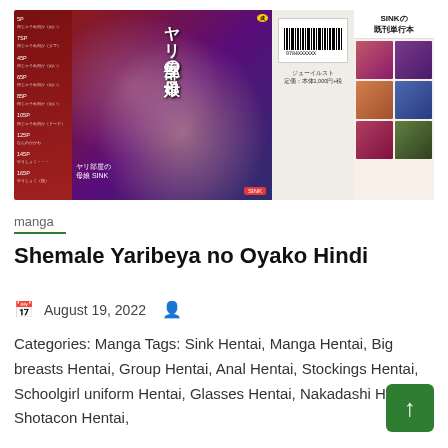[Figure (illustration): Manga book cover spread showing Japanese manga panels with characters and Japanese text. Left panel shows table of contents with page numbers (5P, 7SP, 45P, 65P, 85P, 105P, 125P, 145P, 165P). Center shows manga cover with Japanese title 'ヤリ部屋の母娘'. Middle section shows barcode and pricing info. Right section shows 'SINKの既刊単行本' with manga thumbnail grid.]
manga
Shemale Yaribeya no Oyako Hindi
August 19, 2022
Categories: Manga Tags: Sink Hentai, Manga Hentai, Big breasts Hentai, Group Hentai, Anal Hentai, Stockings Hentai, Schoolgirl uniform Hentai, Glasses Hentai, Nakadashi Hentai, Shotacon Hentai,